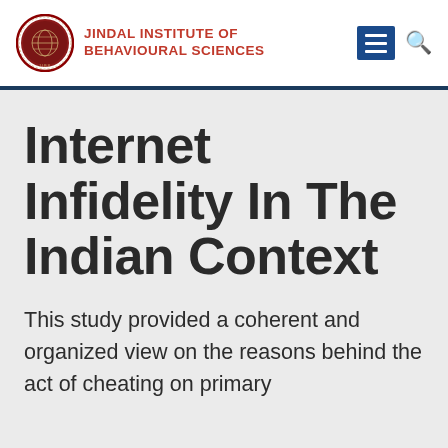JINDAL INSTITUTE OF BEHAVIOURAL SCIENCES
Internet Infidelity In The Indian Context
This study provided a coherent and organized view on the reasons behind the act of cheating on primary